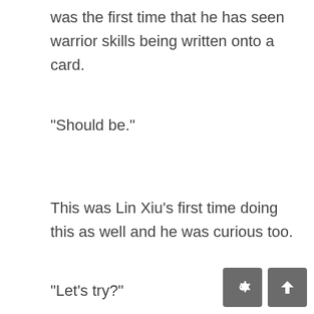was the first time that he has seen warrior skills being written onto a card.
“Should be.”
This was Lin Xiu’s first time doing this as well and he was curious too.
“Let’s try?”